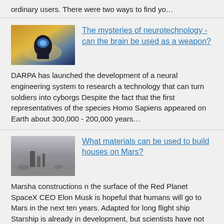ordinary users. There were two ways to find yo…
[Figure (photo): Thumbnail image of a human head silhouette with glowing blue brain, set against a warm golden/blue background]
The mysteries of neurotechnology - can the brain be used as a weapon?
DARPA has launched the development of a neural engineering system to research a technology that can turn soldiers into cyborgs Despite the fact that the first representatives of the species Homo Sapiens appeared on Earth about 300,000 - 200,000 years…
[Figure (photo): Thumbnail image of dark silhouetted rocky formations on Mars-like dusty gray landscape]
What materials can be used to build houses on Mars?
Marsha constructions n the surface of the Red Planet SpaceX CEO Elon Musk is hopeful that humans will go to Mars in the next ten years. Adapted for long flight ship Starship is already in development, but scientists have not yet decided where exactly…
Comments (0)
This article has no comment, be the first!
Add comment